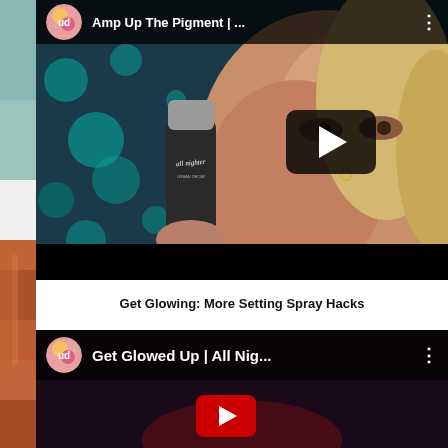[Figure (screenshot): Left strip showing product images - teal/turquoise swatch on top, copper/bronze metallic product on bottom]
[Figure (screenshot): YouTube video thumbnail for 'Amp Up The Pigment | ...' by Urban Decay, showing a woman holding an All Nighter setting spray against bokeh blue background, with play button overlay]
Get Glowing: More Setting Spray Hacks
[Figure (screenshot): YouTube video thumbnail for 'Get Glowed Up | All Nig...' by Urban Decay, showing dark background with red play button starting to appear]